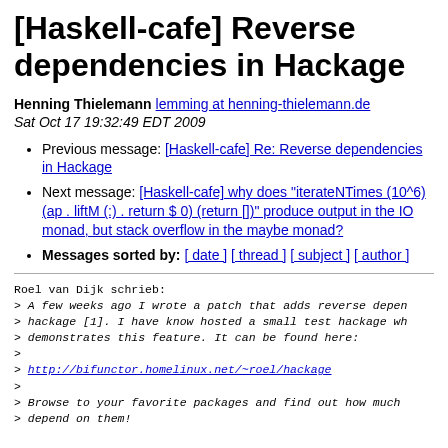[Haskell-cafe] Reverse dependencies in Hackage
Henning Thielemann lemming at henning-thielemann.de
Sat Oct 17 19:32:49 EDT 2009
Previous message: [Haskell-cafe] Re: Reverse dependencies in Hackage
Next message: [Haskell-cafe] why does "iterateNTimes (10^6) (ap . liftM (:) . return $ 0) (return [])" produce output in the IO monad, but stack overflow in the maybe monad?
Messages sorted by: [ date ] [ thread ] [ subject ] [ author ]
Roel van Dijk schrieb:
> A few weeks ago I wrote a patch that adds reverse depen
> hackage [1]. I have know hosted a small test hackage wh
> demonstrates this feature. It can be found here:
>
> http://bifunctor.homelinux.net/~roel/hackage
>
> Browse to your favorite packages and find out how much
> depend on them!